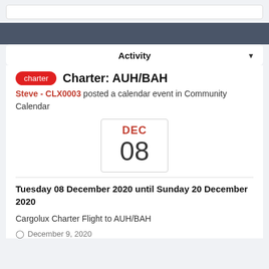Activity
charter  Charter: AUH/BAH
Steve - CLX0003 posted a calendar event in Community Calendar
[Figure (other): Calendar widget showing DEC 08]
Tuesday 08 December 2020 until Sunday 20 December 2020
Cargolux Charter Flight to AUH/BAH
December 9, 2020